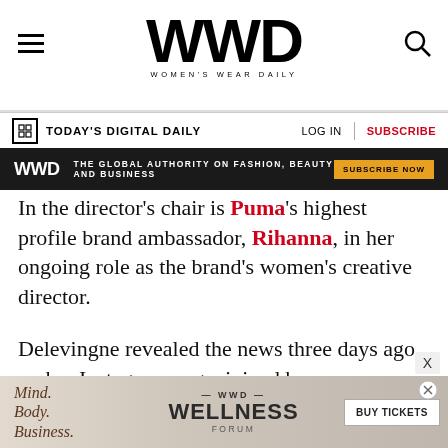WWD — Women's Wear Daily
TODAY'S DIGITAL DAILY   LOG IN   SUBSCRIBE
[Figure (screenshot): WWD black ad banner: 'THE GLOBAL AUTHORITY ON FASHION, BEAUTY AND BUSINESS — SUBSCRIBE NOW']
In the director's chair is Puma's highest profile brand ambassador, Rihanna, in her ongoing role as the brand's women's creative director.
Delevingne revealed the news three days ago on her Instagram page, joined by a characteristically irreverent black-and-white shot of herself in Puma gear blowing a bubble. The post has already received 1.4 million likes.
[Figure (screenshot): WWD Wellness Forum bottom ad banner: Mind. Body. Business. — WELLNESS FORUM — BUY TICKETS]